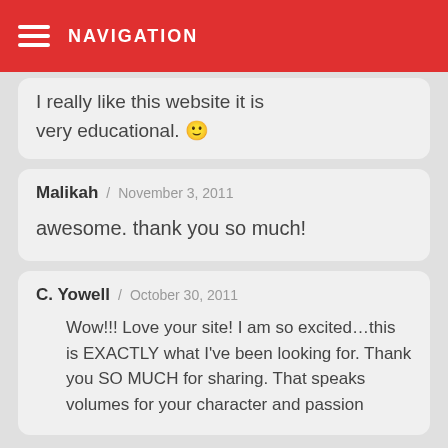NAVIGATION
I really like this website it is very educational. 🙂
Malikah / November 3, 2011

awesome. thank you so much!
C. Yowell / October 30, 2011

Wow!!! Love your site! I am so excited…this is EXACTLY what I've been looking for. Thank you SO MUCH for sharing. That speaks volumes for your character and passion